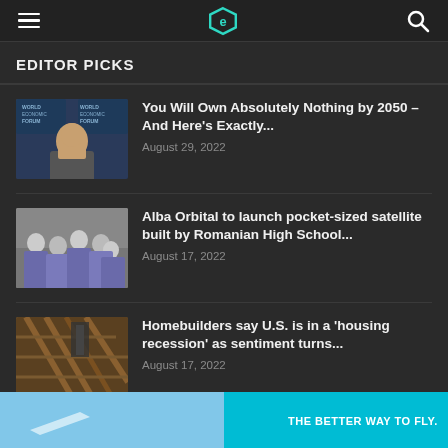Navigation header with hamburger menu, logo, and search icon
EDITOR PICKS
You Will Own Absolutely Nothing by 2050 – And Here's Exactly... | August 29, 2022
Alba Orbital to launch pocket-sized satellite built by Romanian High School... | August 17, 2022
Homebuilders say U.S. is in a 'housing recession' as sentiment turns... | August 17, 2022
[Figure (screenshot): Advertisement banner at the bottom with blue background and text THE BETTER WAY TO FLY.]